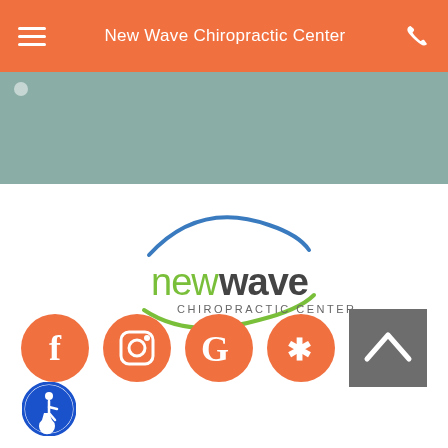New Wave Chiropractic Center
[Figure (illustration): Teal/sage green banner area below header]
[Figure (logo): New Wave Chiropractic Center logo with blue swoosh arc, green 'new' text, dark 'wave' text, gray 'CHIROPRACTIC CENTER' subtitle, and green bottom swoosh]
[Figure (infographic): Row of social media icon circles (Facebook, Instagram, Google, Yelp) in orange, plus a gray back-to-top button with upward chevron, and an accessibility icon in blue circle]